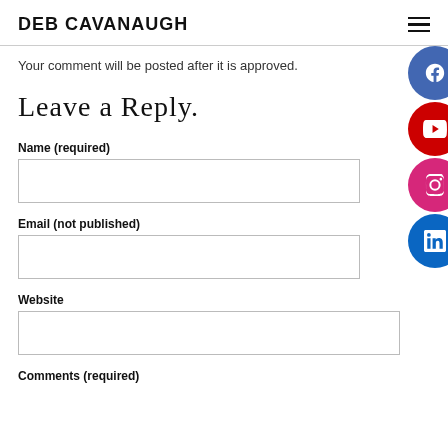DEB CAVANAUGH
Your comment will be posted after it is approved.
Leave a Reply.
Name (required)
Email (not published)
Website
Comments (required)